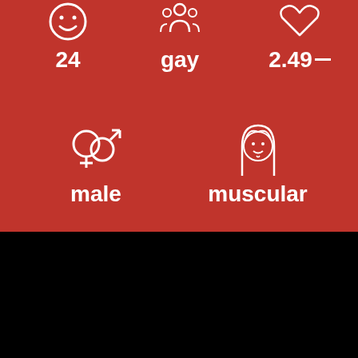[Figure (infographic): Red background infographic card showing profile attributes: age 24, orientation 'gay', rating 2.49, gender 'male', body type 'muscular' with corresponding icons]
24
gay
2.49
male
muscular